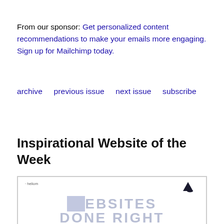From our sponsor:  Get personalized content recommendations to make your emails more engaging. Sign up for Mailchimp today.
archive   previous issue   next issue   subscribe
Inspirational Website of the Week
[Figure (screenshot): Screenshot of the heliom website showing 'WEBSITES DONE RIGHT' text in large light gray letters with a lavender/blue tinted background on the W. A small sailboat logo icon appears in the top right corner.]